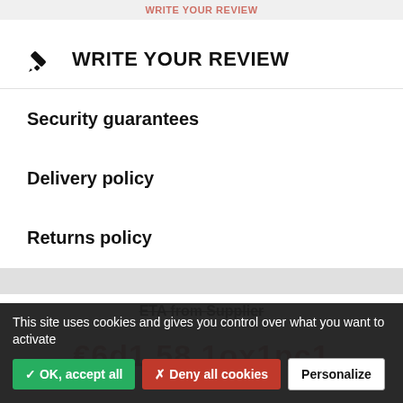WRITE YOUR REVIEW
WRITE YOUR REVIEW
Security guarantees
Delivery policy
Returns policy
ETA from Supplier
This site uses cookies and gives you control over what you want to activate
✓ OK, accept all
✗ Deny all cookies
Personalize